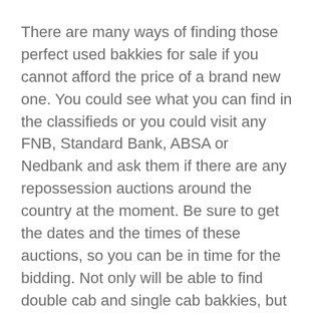There are many ways of finding those perfect used bakkies for sale if you cannot afford the price of a brand new one. You could see what you can find in the classifieds or you could visit any FNB, Standard Bank, ABSA or Nedbank and ask them if there are any repossession auctions around the country at the moment. Be sure to get the dates and the times of these auctions, so you can be in time for the bidding. Not only will be able to find double cab and single cab bakkies, but you will also be able to find many other vehicles that the banks have repossessed and is putting up for auction.
You will find that once you have attended these auctions, at the end of the day, the prices of the some of the things you are paying for compared to shop will be